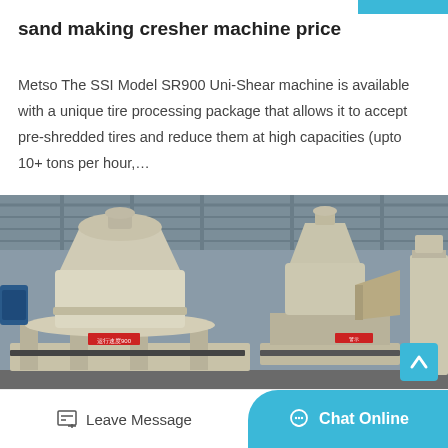sand making cresher machine price
Metso The SSI Model SR900 Uni-Shear machine is available with a unique tire processing package that allows it to accept pre-shredded tires and reduce them at high capacities (upto 10+ tons per hour,…
[Figure (photo): Industrial sand making crusher machines in a warehouse/factory setting. Two large cream/beige colored cone crusher machines on heavy metal frames, with Chinese text labels visible on the machinery. Industrial building with metal roof structure in background.]
Leave Message
Chat Online